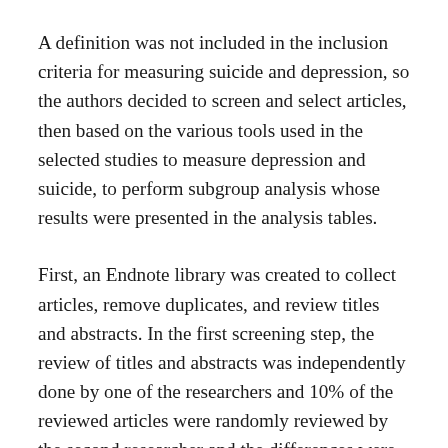A definition was not included in the inclusion criteria for measuring suicide and depression, so the authors decided to screen and select articles, then based on the various tools used in the selected studies to measure depression and suicide, to perform subgroup analysis whose results were presented in the analysis tables.
First, an Endnote library was created to collect articles, remove duplicates, and review titles and abstracts. In the first screening step, the review of titles and abstracts was independently done by one of the researchers and 10% of the reviewed articles were randomly reviewed by the second researcher and the differences were resolved by discussing and referring to the third person if necessary. The